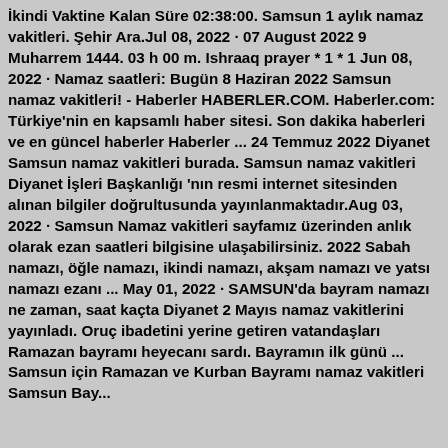İkindi Vaktine Kalan Süre 02:38:00. Samsun 1 aylık namaz vakitleri. Şehir Ara.Jul 08, 2022 · 07 August 2022 9 Muharrem 1444. 03 h 00 m. Ishraaq prayer * 1 * 1 Jun 08, 2022 · Namaz saatleri: Bugün 8 Haziran 2022 Samsun namaz vakitleri! - Haberler HABERLER.COM. Haberler.com: Türkiye'nin en kapsamlı haber sitesi. Son dakika haberleri ve en güncel haberler Haberler ... 24 Temmuz 2022 Diyanet Samsun namaz vakitleri burada. Samsun namaz vakitleri Diyanet İşleri Başkanlığı 'nın resmi internet sitesinden alınan bilgiler doğrultusunda yayınlanmaktadır.Aug 03, 2022 · Samsun Namaz vakitleri sayfamız üzerinden anlık olarak ezan saatleri bilgisine ulaşabilirsiniz. 2022 Sabah namazı, öğle namazı, ikindi namazı, akşam namazı ve yatsı namazı ezanı ... May 01, 2022 · SAMSUN'da bayram namazı ne zaman, saat kaçta Diyanet 2 Mayıs namaz vakitlerini yayınladı. Oruç ibadetini yerine getiren vatandaşları Ramazan bayramı heyecanı sardı. Bayramın ilk günü ... Samsun için Ramazan ve Kurban Bayramı namaz vakitleri Samsun Bay...